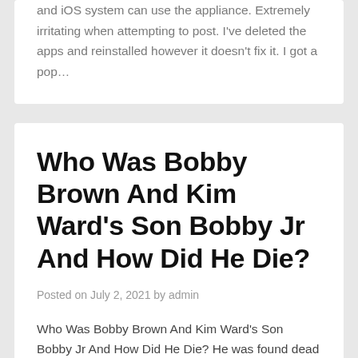and iOS system can use the appliance. Extremely irritating when attempting to post. I've deleted the apps and reinstalled however it doesn't fix it. I got a pop…
Who Was Bobby Brown And Kim Ward's Son Bobby Jr And How Did He Die?
Posted on July 2, 2021 by admin
Who Was Bobby Brown And Kim Ward's Son Bobby Jr And How Did He Die? He was found dead at his Encino house on Wednesday at round 1.50pm. Colorado officials have named the suspect and 10 people killed in